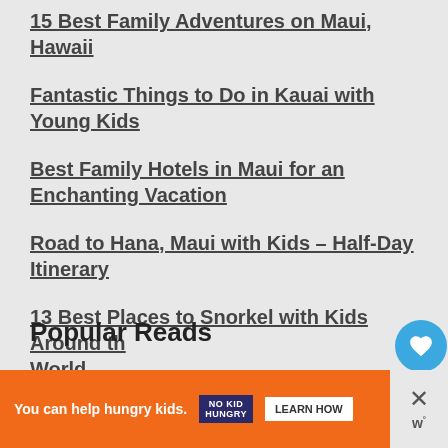15 Best Family Adventures on Maui, Hawaii
Fantastic Things to Do in Kauai with Young Kids
Best Family Hotels in Maui for an Enchanting Vacation
Road to Hana, Maui with Kids – Half-Day Itinerary
13 Best Places to Snorkel with Kids Around the World
Popular Reads
WHAT'S NEXT → Best Things To Do In...
You can help hungry kids. NO KID HUNGRY LEARN HOW